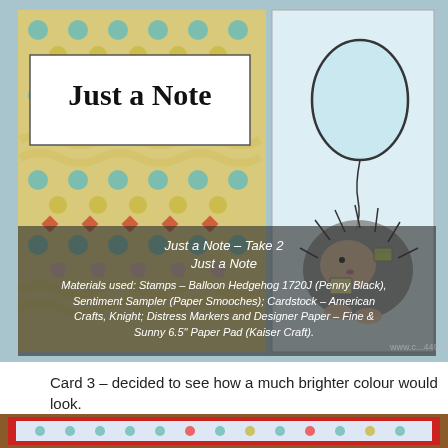[Figure (photo): A handmade greeting card featuring a balloon hedgehog stamp on a patterned background with polka dots and wavy lines in teal, yellow, and red. The card has a white panel on the left with 'Just a Note' text in brush lettering, and a taller white panel on the right with a hedgehog holding a balloon and letter. An overlay caption box at the bottom provides materials information.]
Just a Note – Take 2
Just a Note
Materials used: Stamps – Balloon Hedgehog 1720J (Penny Black), Sentiment Sampler (Paper Smooches); Cardstock – American Crafts, Knight; Distress Markers and Designer Paper – Fine & Sunny 6.5" Paper Pad (Kaiser Craft).
Card 3 – decided to see how a much brighter colour would look.
[Figure (photo): Partial view of a third handmade greeting card with a bright red border, visible at the bottom of the page.]